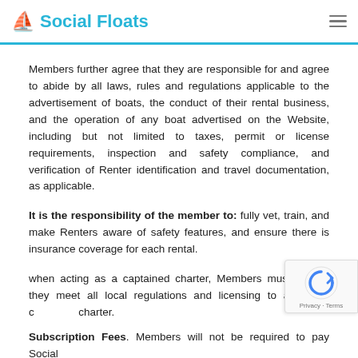Social Floats
Members further agree that they are responsible for and agree to abide by all laws, rules and regulations applicable to the advertisement of boats, the conduct of their rental business, and the operation of any boat advertised on the Website, including but not limited to taxes, permit or license requirements, inspection and safety compliance, and verification of Renter identification and travel documentation, as applicable.
It is the responsibility of the member to: fully vet, train, and make Renters aware of safety features, and ensure there is insurance coverage for each rental.
when acting as a captained charter, Members must ensure they meet all local regulations and licensing to act as a captained charter.
Subscription Fees. Members will not be required to pay Social